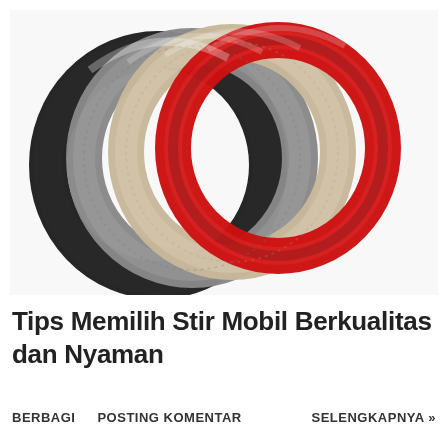[Figure (photo): Four steering wheel covers arranged in a fan/stack, showing different colors: black/dark gray, gray, beige/champagne, and red, all with textured grip patterns.]
Tips Memilih Stir Mobil Berkualitas dan Nyaman
BERBAGI    POSTING KOMENTAR    SELENGKAPNYA »